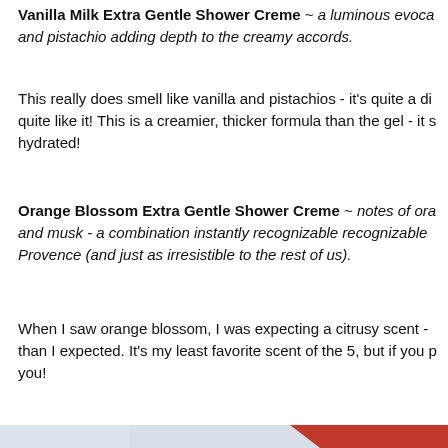Vanilla Milk Extra Gentle Shower Creme ~ a luminous evoca... and pistachio adding depth to the creamy accords.
This really does smell like vanilla and pistachios - it's quite a di... quite like it! This is a creamier, thicker formula than the gel - it s... hydrated!
Orange Blossom Extra Gentle Shower Creme ~ notes of ora... and musk - a combination instantly recognizable recognizable... Provence (and just as irresistible to the rest of us).
When I saw orange blossom, I was expecting a citrusy scent - than I expected. It's my least favorite scent of the 5, but if you p... you!
[Figure (photo): Close-up photograph of a textured white fabric or packaging material with a red diagonal element bearing text, partially cut off at the bottom of the page.]